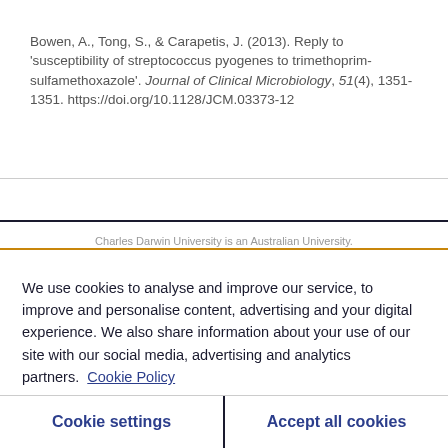Bowen, A., Tong, S., & Carapetis, J. (2013). Reply to 'susceptibility of streptococcus pyogenes to trimethoprim-sulfamethoxazole'. Journal of Clinical Microbiology, 51(4), 1351-1351. https://doi.org/10.1128/JCM.03373-12
Charles Darwin University is an Australian University.
We use cookies to analyse and improve our service, to improve and personalise content, advertising and your digital experience. We also share information about your use of our site with our social media, advertising and analytics partners. Cookie Policy
Cookie settings
Accept all cookies